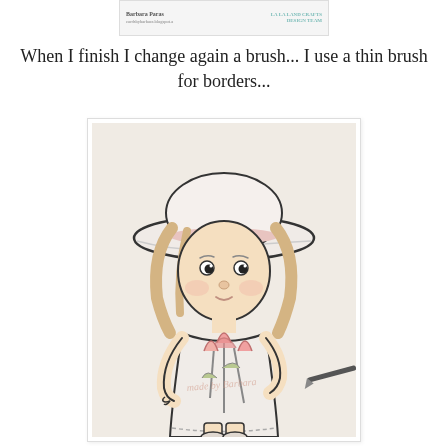[Figure (illustration): Small card or label image with handwritten-style text and a logo reading 'La La Land Crafts Design Team']
When I finish I change again a brush... I use a thin brush for borders...
[Figure (photo): Colored pencil illustration of a cute chibi-style little girl wearing a wide-brimmed white hat, blonde hair, holding a bouquet of pink tulips, wearing a white dress. A thin brush/pencil is visible in the lower right of the image. Watermark reads 'made by Barbara'.]